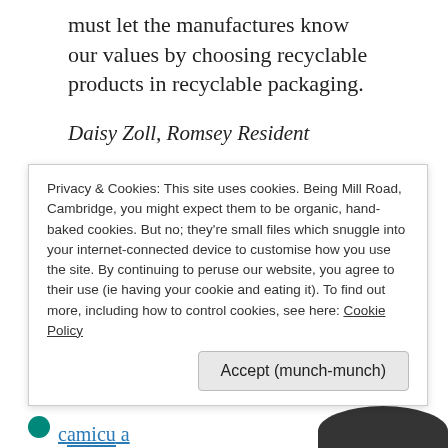must let the manufactures know our values by choosing recyclable products in recyclable packaging.
Daisy Zoll, Romsey Resident
Click to see (and sign) Daisy's petition.
Privacy & Cookies: This site uses cookies. Being Mill Road, Cambridge, you might expect them to be organic, hand-baked cookies. But no; they're small files which snuggle into your internet-connected device to customise how you use the site. By continuing to peruse our website, you agree to their use (ie having your cookie and eating it). To find out more, including how to control cookies, see here: Cookie Policy
Accept (munch-munch)